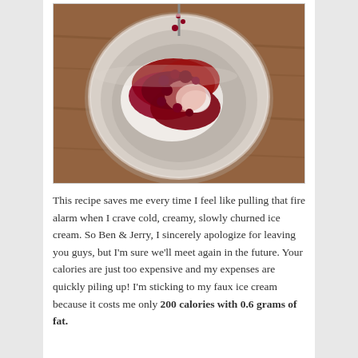[Figure (photo): A white ceramic bowl viewed from above containing what appears to be cottage cheese or ice cream topped with dark red berry compote/sauce, sitting on a wooden surface. A spoon is visible at the top with sauce dripping.]
This recipe saves me every time I feel like pulling that fire alarm when I crave cold, creamy, slowly churned ice cream. So Ben & Jerry, I sincerely apologize for leaving you guys, but I'm sure we'll meet again in the future. Your calories are just too expensive and my expenses are quickly piling up! I'm sticking to my faux ice cream because it costs me only 200 calories with 0.6 grams of fat.